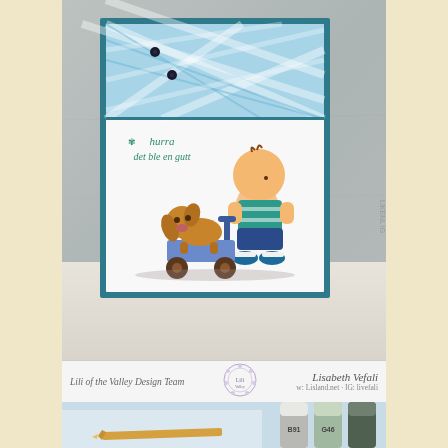[Figure (photo): A handmade greeting card featuring a boy pushing a toy dog on a cart. The card has a blue plaid patterned header with black sequins, a white lower section with teal script text reading 'hurra det ble en gutt', and an illustration of a toddler boy in teal and blue outfit pushing a brown toy dog on wheels. The card is mounted on a teal/dark blue mat background, displayed on a grey surface.]
Lili of the Valley Design Team
[Figure (logo): Lili of the Valley circular logo/badge with floral design]
Lisabeth Vefali
w: Lisland.net · IG: livefali
[Figure (photo): Close-up photo of Copic markers in grey/green colors with caps visible, placed on a light blue paper surface near a pencil or marker tip.]